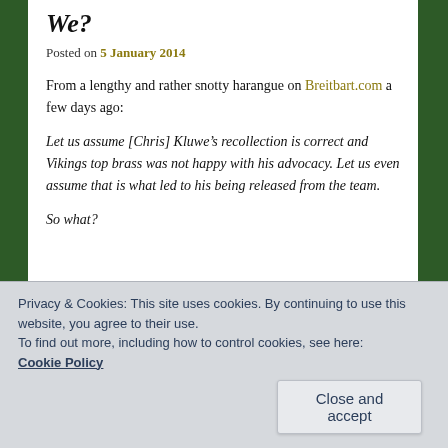We?
Posted on 5 January 2014
From a lengthy and rather snotty harangue on Breitbart.com a few days ago:
Let us assume [Chris] Kluwe’s recollection is correct and Vikings top brass was not happy with his advocacy. Let us even assume that is what led to his being released from the team.
So what?
Privacy & Cookies: This site uses cookies. By continuing to use this website, you agree to their use.
To find out more, including how to control cookies, see here:
Cookie Policy